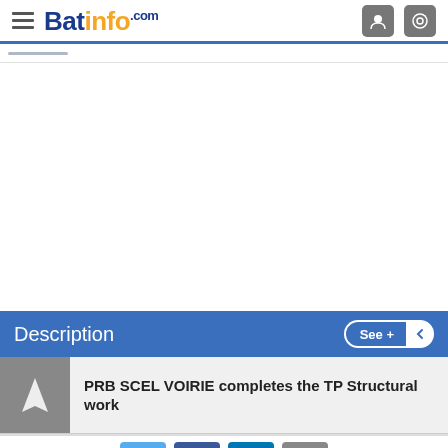Batinfo.com
[Figure (screenshot): Blank white content area below navigation header]
Description
PRB SCEL VOIRIE completes the TP Structural work
Social sharing icons: Twitter, Facebook, LinkedIn, Email